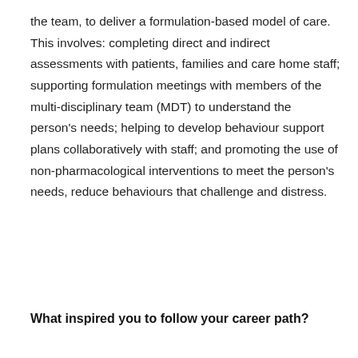the team, to deliver a formulation-based model of care. This involves: completing direct and indirect assessments with patients, families and care home staff; supporting formulation meetings with members of the multi-disciplinary team (MDT) to understand the person's needs; helping to develop behaviour support plans collaboratively with staff; and promoting the use of non-pharmacological interventions to meet the person's needs, reduce behaviours that challenge and distress.
What inspired you to follow your career path?